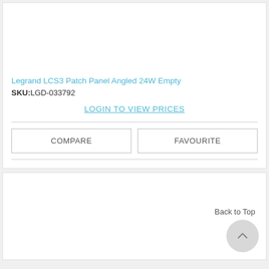[Figure (other): Product image area (blank/white) for Legrand LCS3 Patch Panel]
Legrand LCS3 Patch Panel Angled 24W Empty
SKU:LGD-033792
LOGIN TO VIEW PRICES
COMPARE
FAVOURITE
Back to Top